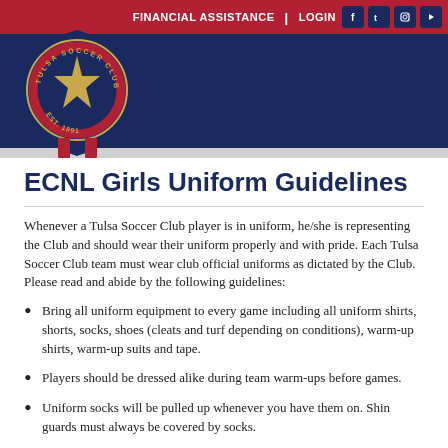FINANCIAL ASSISTANCE | LOGIN
[Figure (logo): Tulsa Soccer Club circular crest logo with star and EST. 1991, navy and red colors]
ECNL Girls Uniform Guidelines
Whenever a Tulsa Soccer Club player is in uniform, he/she is representing the Club and should wear their uniform properly and with pride. Each Tulsa Soccer Club team must wear club official uniforms as dictated by the Club.  Please read and abide by the following guidelines:
Bring all uniform equipment to every game including all uniform shirts, shorts, socks, shoes (cleats and turf depending on conditions), warm-up shirts, warm-up suits and tape.
Players should be dressed alike during team warm-ups before games.
Uniform socks will be pulled up whenever you have them on. Shin guards must always be covered by socks.